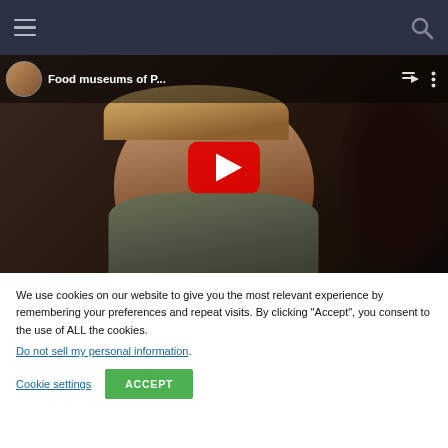Navigation bar with hamburger menu and search icon
[Figure (screenshot): YouTube video player thumbnail showing an animated 3D character (blonde woman in green top) with video title 'Food museums of P...' and YouTube play button overlay]
We use cookies on our website to give you the most relevant experience by remembering your preferences and repeat visits. By clicking “Accept”, you consent to the use of ALL the cookies.
Do not sell my personal information.
Cookie settings
ACCEPT